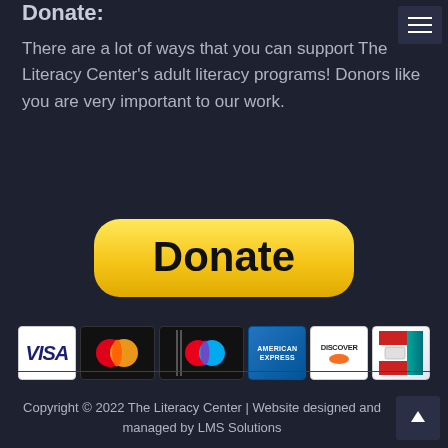Donate:
There are a lot of ways that you can support The Literacy Center's adult literacy programs! Donors like you are very important to our work.
[Figure (illustration): PayPal-style yellow Donate button with rounded corners and bold black text 'Donate']
[Figure (illustration): Row of payment method logos: Visa, Mastercard (two overlapping circles on black), Mastercard logo, American Express, Discover, and one more card logo]
Copyright © 2022 The Literacy Center | Website designed and managed by LMS Solutions